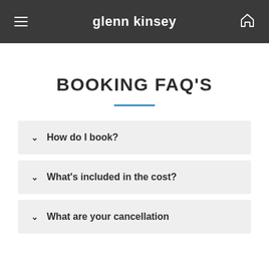glenn kinsey
BOOKING FAQ'S
How do I book?
What's included in the cost?
What are your cancellation